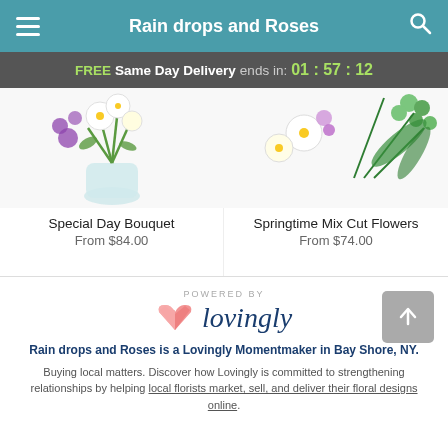Rain drops and Roses
FREE Same Day Delivery ends in: 01 : 57 : 12
[Figure (photo): Special Day Bouquet floral arrangement photo]
Special Day Bouquet
From $84.00
[Figure (photo): Springtime Mix Cut Flowers floral arrangement photo]
Springtime Mix Cut Flowers
From $74.00
[Figure (logo): Powered by Lovingly logo with pink heart icon]
Rain drops and Roses is a Lovingly Momentmaker in Bay Shore, NY.
Buying local matters. Discover how Lovingly is committed to strengthening relationships by helping local florists market, sell, and deliver their floral designs online.